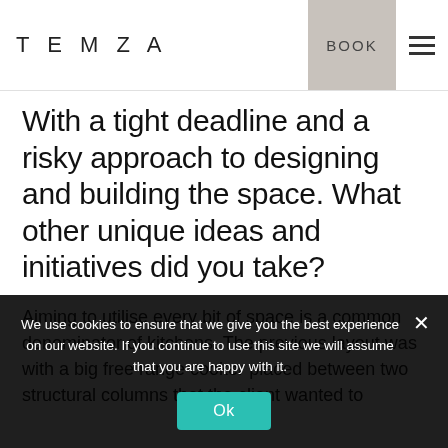TEMZA | BOOK
With a tight deadline and a risky approach to designing and building the space. What other unique ideas and initiatives did you take?
Aiming to utilise every bit of space is a common denominator of kitchens. The previous layout was with a big free range cooker placed between two structural columns that the client wanted to
We use cookies to ensure that we give you the best experience on our website. If you continue to use this site we will assume that you are happy with it.